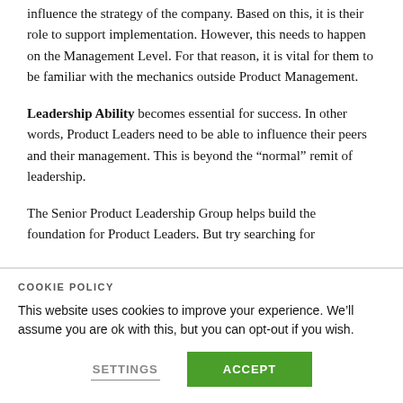influence the strategy of the company. Based on this, it is their role to support implementation. However, this needs to happen on the Management Level. For that reason, it is vital for them to be familiar with the mechanics outside Product Management.
Leadership Ability becomes essential for success. In other words, Product Leaders need to be able to influence their peers and their management. This is beyond the “normal” remit of leadership.
The Senior Product Leadership Group helps build the foundation for Product Leaders. But try searching for
COOKIE POLICY
This website uses cookies to improve your experience. We’ll assume you are ok with this, but you can opt-out if you wish.
SETTINGS   ACCEPT